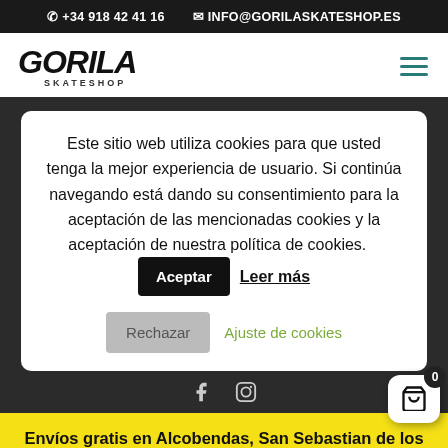+34 918 42 41 16  INFO@GORILASKATESHOP.ES
[Figure (logo): Gorila Skateshop logo in black bold graffiti-style lettering with SKATESHOP subtitle]
Este sitio web utiliza cookies para que usted tenga la mejor experiencia de usuario. Si continúa navegando está dando su consentimiento para la aceptación de las mencionadas cookies y la aceptación de nuestra política de cookies.  Aceptar  Leer más  Rechazar  Ajuste de cookies
Envíos gratis en Alcobendas, San Sebastian de los Reyes, Algete, Cobeña y Fuente del Saz